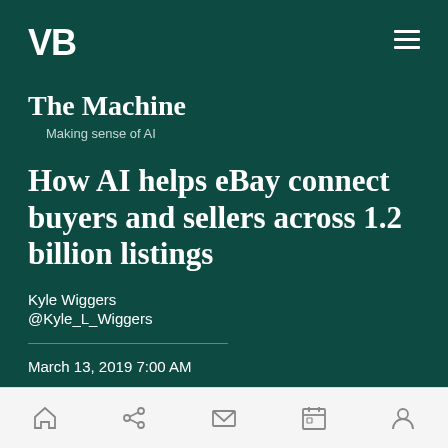VB
The Machine
Making sense of AI
How AI helps eBay connect buyers and sellers across 1.2 billion listings
Kyle Wiggers
@Kyle_L_Wiggers
March 13, 2019 7:00 AM